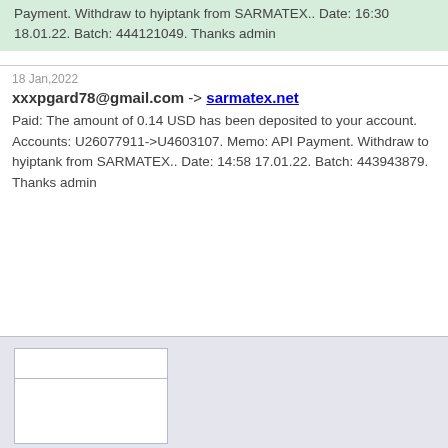Payment. Withdraw to hyiptank from SARMATEX.. Date: 16:30 18.01.22. Batch: 444121049. Thanks admin
18 Jan,2022
xxxpgard78@gmail.com -> sarmatex.net
Paid: The amount of 0.14 USD has been deposited to your account. Accounts: U26077911->U4603107. Memo: API Payment. Withdraw to hyiptank from SARMATEX.. Date: 14:58 17.01.22. Batch: 443943879. Thanks admin
[Figure (screenshot): Screenshot image box with zoom link showing [ + ] zoom]
[Figure (screenshot): Second screenshot image box (partially visible)]